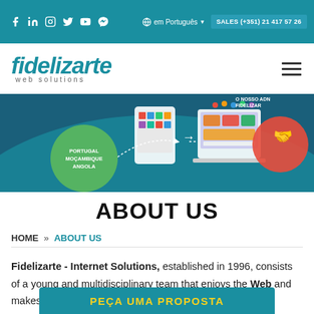f in Instagram y YouTube Messenger | em Português ▼ | SALES (+351) 21 417 57 26
[Figure (logo): Fidelizarte web solutions logo in teal italic font]
[Figure (infographic): Website banner showing mobile/desktop screens with web solutions illustrations, Portugal Moçambique Angola text, O NOSSO ADN FIDELIZAR text]
ABOUT US
HOME » ABOUT US
Fidelizarte - Internet Solutions, established in 1996, consists of a young and multidisciplinary team that enjoys the Web and makes ethic... their work
PEÇA UMA PROPOSTA